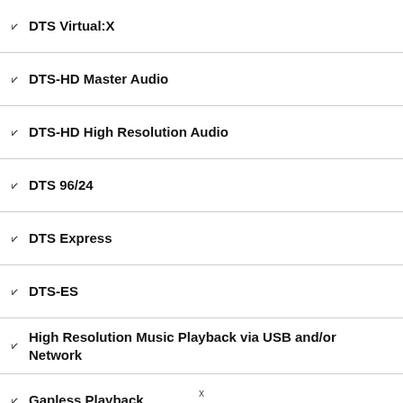✓ DTS Virtual:X
✓ DTS-HD Master Audio
✓ DTS-HD High Resolution Audio
✓ DTS 96/24
✓ DTS Express
✓ DTS-ES
✓ High Resolution Music Playback via USB and/or Network
✓ Gapless Playback
✓ DSD via HDMI
x